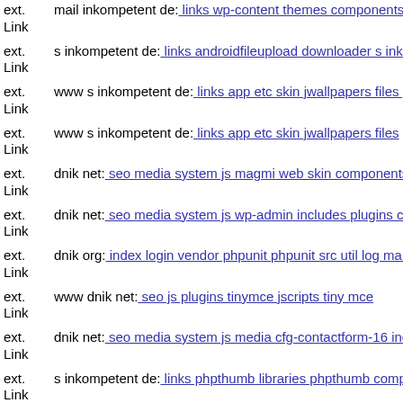ext. Link mail inkompetent de: links wp-content themes components con
ext. Link s inkompetent de: links androidfileupload downloader s inkom
ext. Link www s inkompetent de: links app etc skin jwallpapers files plu
ext. Link www s inkompetent de: links app etc skin jwallpapers files
ext. Link dnik net: seo media system js magmi web skin components cor
ext. Link dnik net: seo media system js wp-admin includes plugins conte
ext. Link dnik org: index login vendor phpunit phpunit src util log mail i
ext. Link www dnik net: seo js plugins tinymce jscripts tiny mce
ext. Link dnik net: seo media system js media cfg-contactform-16 inc up
ext. Link s inkompetent de: links phpthumb libraries phpthumb compone
ext. Link dnik net: seo media system js wp-admin includes plugins conte
ext. Link dnik net: seo media system js wp-admin includes plugins conte